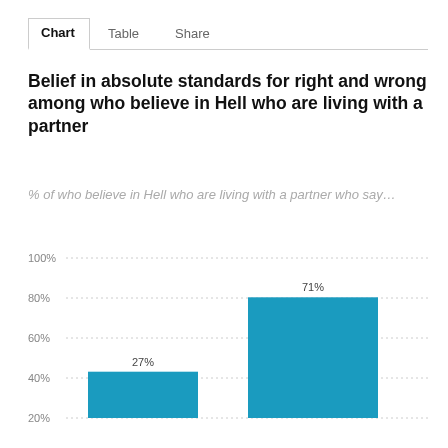Chart  Table  Share
Belief in absolute standards for right and wrong among who believe in Hell who are living with a partner
% of who believe in Hell who are living with a partner who say...
[Figure (bar-chart): Belief in absolute standards for right and wrong among who believe in Hell who are living with a partner]